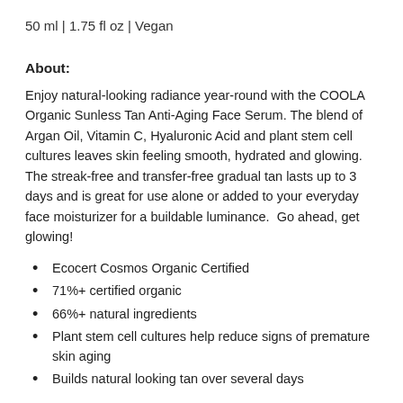50 ml | 1.75 fl oz | Vegan
About:
Enjoy natural-looking radiance year-round with the COOLA Organic Sunless Tan Anti-Aging Face Serum. The blend of Argan Oil, Vitamin C, Hyaluronic Acid and plant stem cell cultures leaves skin feeling smooth, hydrated and glowing.  The streak-free and transfer-free gradual tan lasts up to 3 days and is great for use alone or added to your everyday face moisturizer for a buildable luminance.  Go ahead, get glowing!
Ecocert Cosmos Organic Certified
71%+ certified organic
66%+ natural ingredients
Plant stem cell cultures help reduce signs of premature skin aging
Builds natural looking tan over several days